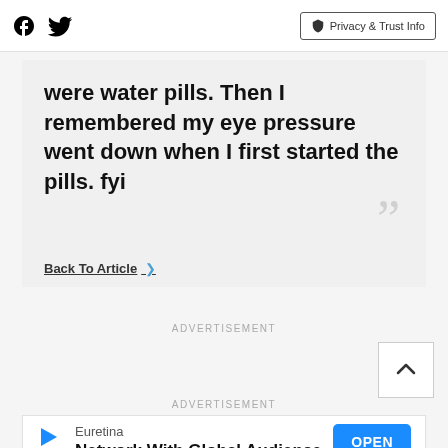Facebook Twitter | Privacy & Trust Info
were water pills. Then I remembered my eye pressure went down when I first started the pills. fyi
Back To Article >
ADVERTISEMENT
ADVERTISEMENT
[Figure (screenshot): Euretina ad banner: Play icon, 'Euretina', 'Network With Global Audience', OPEN button]